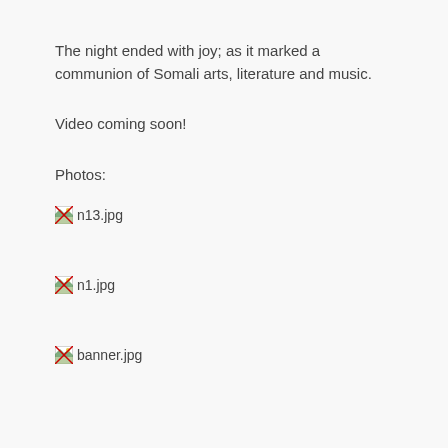The night ended with joy; as it marked a communion of Somali arts, literature and music.
Video coming soon!
Photos:
[Figure (photo): Broken image placeholder for n13.jpg]
[Figure (photo): Broken image placeholder for n1.jpg]
[Figure (photo): Broken image placeholder for banner.jpg]